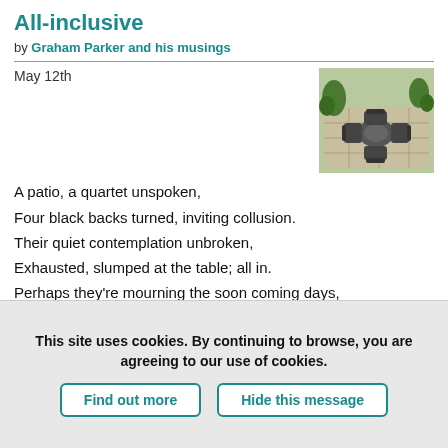All-inclusive
by Graham Parker and his musings
May 12th
[Figure (photo): A patio with four dark garden chairs arranged around a table, viewed from above, surrounded by plants and paving stones.]
A patio, a quartet unspoken,
Four black backs turned, inviting collusion.
Their quiet contemplation unbroken,
Exhausted, slumped at the table; all in.
Perhaps they're mourning the soon coming days,
Or maybe ruined by previous nights?
Preferring their silence, they do not say,
Allied by muteness in crisp morning light.
This site uses cookies. By continuing to browse, you are agreeing to our use of cookies.